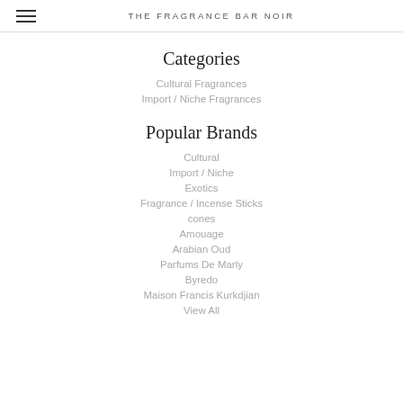THE FRAGRANCE BAR NOIR
Categories
Cultural Fragrances
Import / Niche Fragrances
Popular Brands
Cultural
Import / Niche
Exotics
Fragrance / Incense Sticks
cones
Amouage
Arabian Oud
Parfums De Marly
Byredo
Maison Francis Kurkdjian
View All